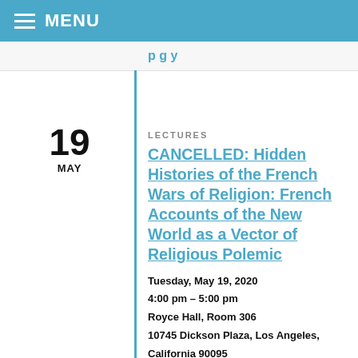MENU
LECTURES
CANCELLED: Hidden Histories of the French Wars of Religion: French Accounts of the New World as a Vector of Religious Polemic
Tuesday, May 19, 2020
4:00 pm – 5:00 pm
Royce Hall, Room 306
10745 Dickson Plaza, Los Angeles, California 90095